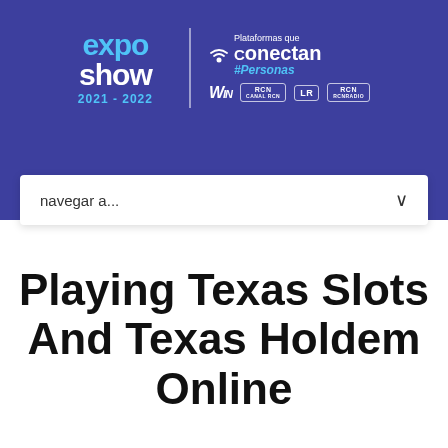[Figure (logo): ExpoShow 2021-2022 event header banner with logo, 'Plataformas que Conectan #Personas' tagline, and media partner logos (WIN, Canal RCN, LR, RCN Radio) on a dark blue/purple background, with a navigation dropdown bar reading 'navegar a...']
Playing Texas Slots And Texas Holdem Online